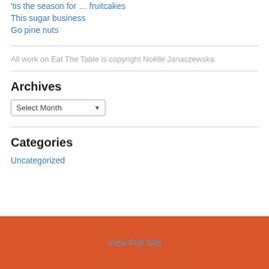'tis the season for … fruitcakes
This sugar business
Go pine nuts
All work on Eat The Table is copyright Noëlle Janaczewska.
Archives
Select Month
Categories
Uncategorized
View Full Site